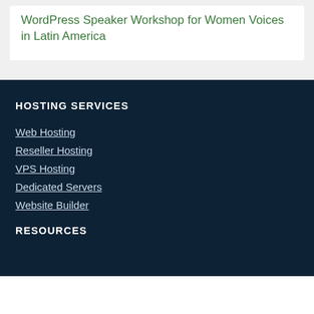WordPress Speaker Workshop for Women Voices in Latin America
HOSTING SERVICES
Web Hosting
Reseller Hosting
VPS Hosting
Dedicated Servers
Website Builder
RESOURCES